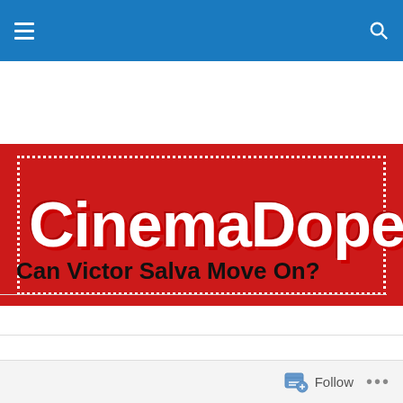Navigation bar with hamburger menu and search icon
[Figure (logo): CinemaDope.com logo on red background with white dotted border]
Can Victor Salva Move On?
Follow